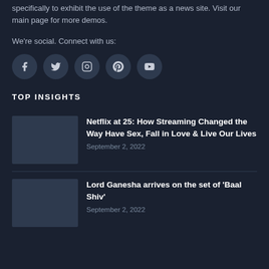specifically to exhibit the use of the theme as a news site. Visit our main page for more demos.
We're social. Connect with us:
[Figure (illustration): Five circular social media icons: Facebook, Twitter, Instagram, Pinterest, YouTube]
TOP INSIGHTS
[Figure (photo): Thumbnail image for Netflix article]
Netflix at 25: How Streaming Changed the Way Have Sex, Fall in Love & Live Our Lives
September 2, 2022
[Figure (photo): Thumbnail image for Lord Ganesha article]
Lord Ganesha arrives on the set of 'Baal Shiv'
September 2, 2022